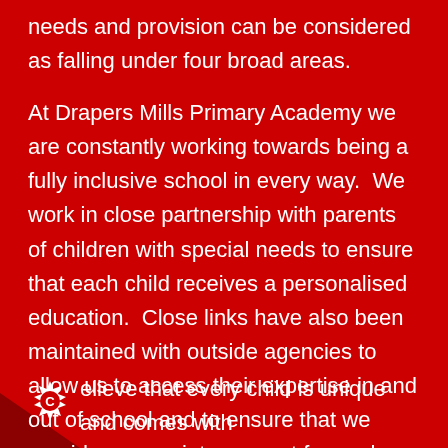needs and provision can be considered as falling under four broad areas.
At Drapers Mills Primary Academy we are constantly working towards being a fully inclusive school in every way.  We work in close partnership with parents of children with special needs to ensure that each child receives a personalised education.  Close links have also been maintained with outside agencies to allow us to access their expertise in and out of school and to ensure that we provide appropriate support for each child's individual needs.
…believe that every child is unique and comes with